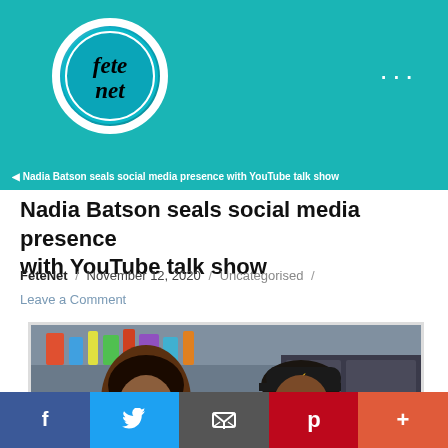[Figure (logo): FeteNet logo — circular badge with cursive 'Fete Net' text on teal background, white border]
Nadia Batson seals social media presence with YouTube talk show
FeteNet / November 12, 2020 / Uncategorised / Leave a Comment
[Figure (photo): Two people sitting at a table in what appears to be a studio/salon setting, both wearing black hoodies. The person on the left is smiling widely. The person on the right is wearing a black cap and holding a microphone stand.]
Social share bar: Facebook, Twitter, Email, Pinterest, More